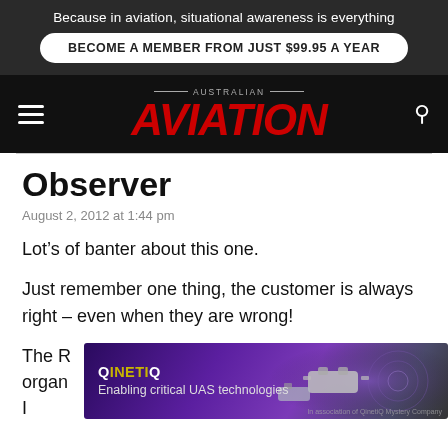Because in aviation, situational awareness is everything
BECOME A MEMBER FROM JUST $99.95 A YEAR
AUSTRALIAN AVIATION
Observer
August 2, 2012 at 1:44 pm
Lot’s of banter about this one.
Just remember one thing, the customer is always right – even when they are wrong!
The R… organ… s I
[Figure (infographic): QinetiQ advertisement banner: purple/dark background with drone imagery, text reads 'QINETIQ Enabling critical UAS technologies']